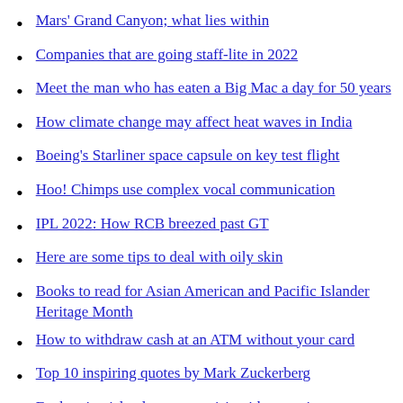Mars' Grand Canyon; what lies within
Companies that are going staff-lite in 2022
Meet the man who has eaten a Big Mac a day for 50 years
How climate change may affect heat waves in India
Boeing's Starliner space capsule on key test flight
Hoo! Chimps use complex vocal communication
IPL 2022: How RCB breezed past GT
Here are some tips to deal with oily skin
Books to read for Asian American and Pacific Islander Heritage Month
How to withdraw cash at an ATM without your card
Top 10 inspiring quotes by Mark Zuckerberg
Enchanting islands you can visit without a visa
Why people with lung disorder face risk of severe Covid